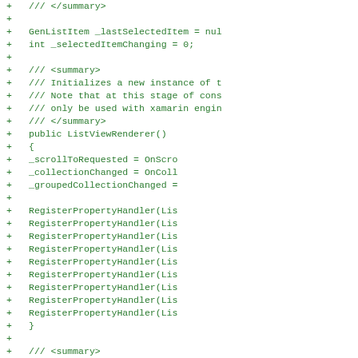[Figure (screenshot): Code diff view showing added lines (marked with +) of C# source code for a ListViewRenderer class, including field declarations, XML doc comments, constructor with scroll/collection handlers and RegisterPropertyHandler calls, and start of another summary comment. All lines shown in green on white background.]